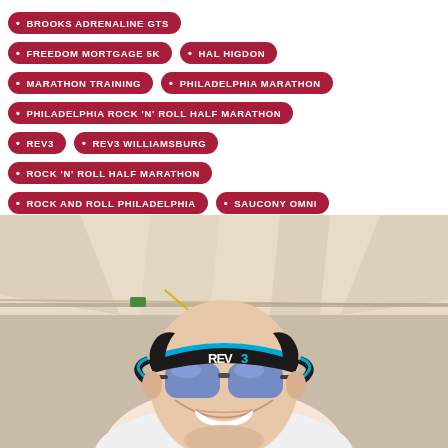BROOKS ADRENALINE GTS
FREEDOM MORTGAGE 5K
HAL HIGDON
MARATHON TRAINING
PHILADELPHIA MARATHON
PHILADELPHIA ROCK 'N' ROLL HALF MARATHON
REV3
REV3 WILLIAMSBURG
ROCK 'N' ROLL HALF MARATHON
ROCK AND ROLL PHILADELPHIA
SAUCONY OMNI
THE COLOR RUN
[Figure (photo): A smiling person wearing a REV3 visor and blue-mirrored sunglasses, photographed from below inside a tent or canopy structure.]